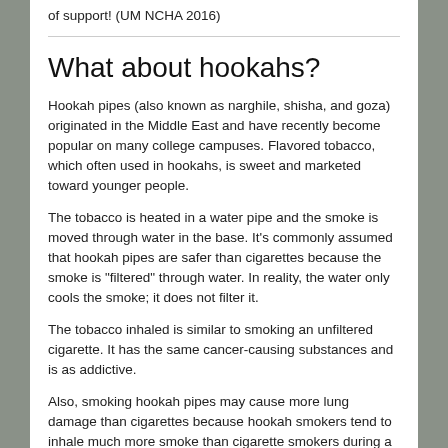of support! (UM NCHA 2016)
What about hookahs?
Hookah pipes (also known as narghile, shisha, and goza) originated in the Middle East and have recently become popular on many college campuses. Flavored tobacco, which often used in hookahs, is sweet and marketed toward younger people.
The tobacco is heated in a water pipe and the smoke is moved through water in the base. It's commonly assumed that hookah pipes are safer than cigarettes because the smoke is "filtered" through water. In reality, the water only cools the smoke; it does not filter it.
The tobacco inhaled is similar to smoking an unfiltered cigarette. It has the same cancer-causing substances and is as addictive.
Also, smoking hookah pipes may cause more lung damage than cigarettes because hookah smokers tend to inhale much more smoke than cigarette smokers during a